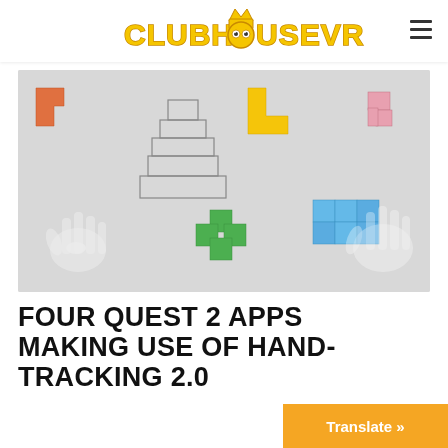CLUBHOUSEVR
[Figure (illustration): VR puzzle game image showing colorful 3D block puzzle pieces (orange, yellow, pink, green, blue tetris-like shapes) and a wireframe pyramid stack, with two transparent hands interacting with pieces on a light gray background.]
FOUR QUEST 2 APPS MAKING USE OF HAND-TRACKING 2.0